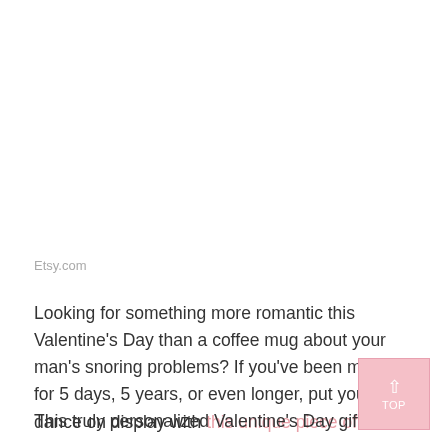Etsy.com
Looking for something more romantic this Valentine's Day than a coffee mug about your man's snoring problems? If you've been married for 5 days, 5 years, or even longer, put your first dance on display with this unique piece of art.
This truly personalized Valentine's Day gift